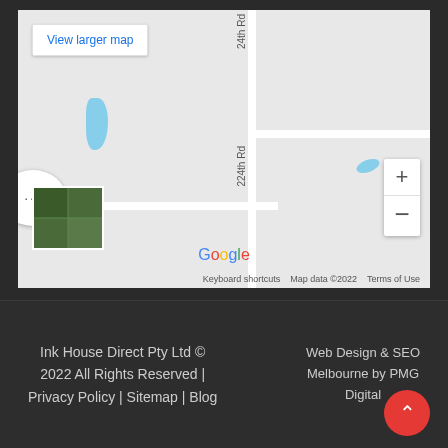[Figure (map): Google Maps screenshot showing intersection of 224th Rd and Creek Rd area. Includes 'View larger map' button, zoom +/- controls, satellite thumbnail, Google branding, menu bubble, and map footer with 'Keyboard shortcuts', 'Map data ©2022', 'Terms of Use'.]
Ink House Direct Pty Ltd © 2022 All Rights Reserved | Privacy Policy | Sitemap | Blog
Web Design & SEO Melbourne by PMG Digital